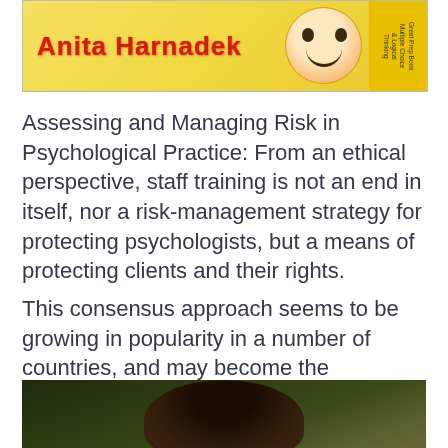[Figure (photo): Book cover showing author name 'Anita Harnadek' in red decorative text on yellow background, with a smiling face illustration and yellow corner panel with text]
Assessing and Managing Risk in Psychological Practice: From an ethical perspective, staff training is not an end in itself, nor a risk-management strategy for protecting psychologists, but a means of protecting clients and their rights.
This consensus approach seems to be growing in popularity in a number of countries, and may become the procedure of choice for setting international standards. BarnardJohn A.
[Figure (photo): Portrait photo of a person with curly dark hair against a dark green/brown background]